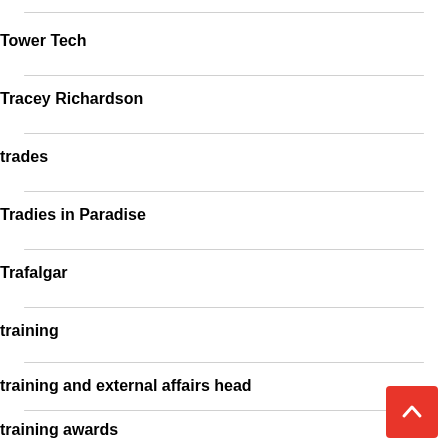Tower Tech
Tracey Richardson
trades
Tradies in Paradise
Trafalgar
training
training and external affairs head
training awards